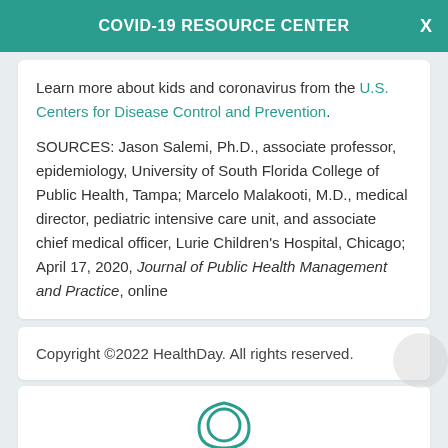COVID-19 RESOURCE CENTER
Learn more about kids and coronavirus from the U.S. Centers for Disease Control and Prevention.
SOURCES: Jason Salemi, Ph.D., associate professor, epidemiology, University of South Florida College of Public Health, Tampa; Marcelo Malakooti, M.D., medical director, pediatric intensive care unit, and associate chief medical officer, Lurie Children's Hospital, Chicago; April 17, 2020, Journal of Public Health Management and Practice, online
Copyright ©2022 HealthDay. All rights reserved.